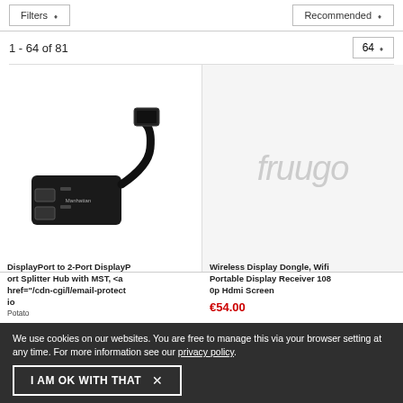Filters
Recommended
1 - 64 of 81
64
[Figure (photo): Manhattan DisplayPort to 2-Port DisplayPort Splitter Hub with MST adapter/cable product photo on white background]
[Figure (logo): Fruugo watermark placeholder image for product without photo]
DisplayPort to 2-Port DisplayPort Splitter Hub with MST, &lt;a href="/cdn-cgi/l/email-protect io
Potato
Wireless Display Dongle, Wifi Portable Display Receiver 1080p Hdmi Screen
€54.00
We use cookies on our websites. You are free to manage this via your browser setting at any time. For more information see our privacy policy.
I AM OK WITH THAT